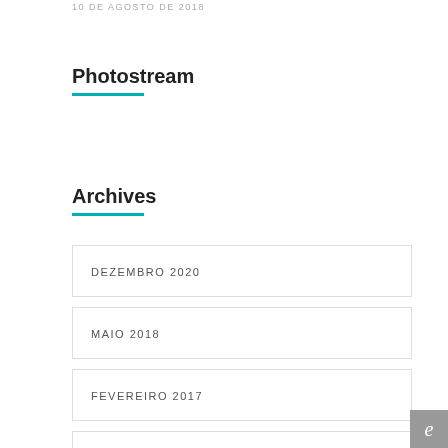10 DE AGOSTO DE 2018
Photostream
Archives
DEZEMBRO 2020
MAIO 2018
FEVEREIRO 2017
JANEIRO 2017
DEZEMBRO 2016